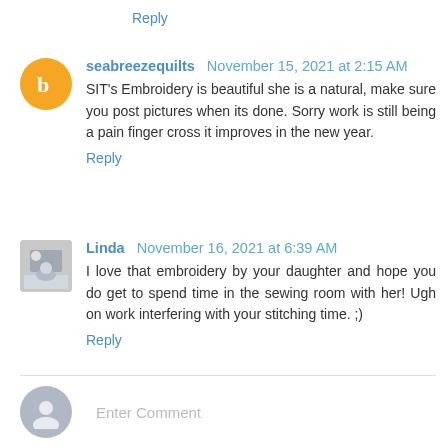Reply
seabreezequilts  November 15, 2021 at 2:15 AM
SIT's Embroidery is beautiful she is a natural, make sure you post pictures when its done. Sorry work is still being a pain finger cross it improves in the new year.
Reply
Linda  November 16, 2021 at 6:39 AM
I love that embroidery by your daughter and hope you do get to spend time in the sewing room with her! Ugh on work interfering with your stitching time. ;)
Reply
Enter Comment